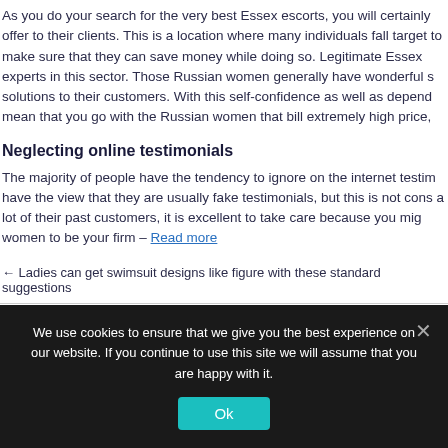As you do your search for the very best Essex escorts, you will certainly offer to their clients. This is a location where many individuals fall target to make sure that they can save money while doing so. Legitimate Essex experts in this sector. Those Russian women generally have wonderful s solutions to their customers. With this self-confidence as well as depend mean that you go with the Russian women that bill extremely high price,
Neglecting online testimonials
The majority of people have the tendency to ignore on the internet testim have the view that they are usually fake testimonials, but this is not cons a lot of their past customers, it is excellent to take care because you mig women to be your firm – Read more
← Ladies can get swimsuit designs like figure with these standard suggestions
We use cookies to ensure that we give you the best experience on our website. If you continue to use this site we will assume that you are happy with it.